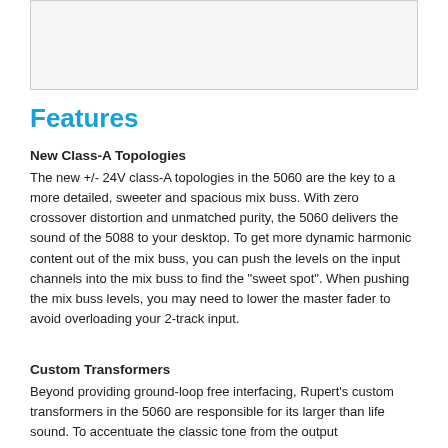[Figure (other): Placeholder image area at top of page]
Features
New Class-A Topologies
The new +/- 24V class-A topologies in the 5060 are the key to a more detailed, sweeter and spacious mix buss. With zero crossover distortion and unmatched purity, the 5060 delivers the sound of the 5088 to your desktop. To get more dynamic harmonic content out of the mix buss, you can push the levels on the input channels into the mix buss to find the "sweet spot". When pushing the mix buss levels, you may need to lower the master fader to avoid overloading your 2-track input.
Custom Transformers
Beyond providing ground-loop free interfacing, Rupert's custom transformers in the 5060 are responsible for its larger than life sound. To accentuate the classic tone from the output